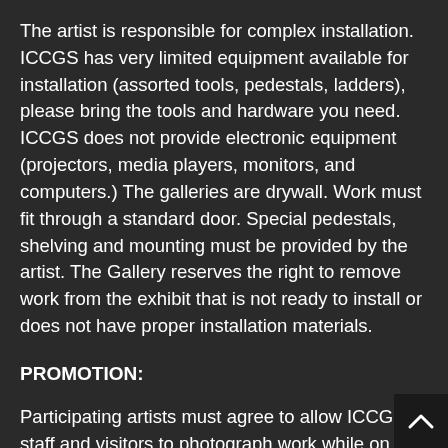The artist is responsible for complex installation. ICCGS has very limited equipment available for installation (assorted tools, pedestals, ladders), please bring the tools and hardware you need. ICCGS does not provide electronic equipment (projectors, media players, monitors, and computers.) The galleries are drywall. Work must fit through a standard door. Special pedestals, shelving and mounting must be provided by the artist. The Gallery reserves the right to remove work from the exhibit that is not ready to install or does not have proper installation materials.
PROMOTION:
Participating artists must agree to allow ICCGS staff and visitors to photograph work while on display for educational or publicity purposes. Submitted images of accepted work will be retained by ICCGS for promotions, posting on our website with artist credit,